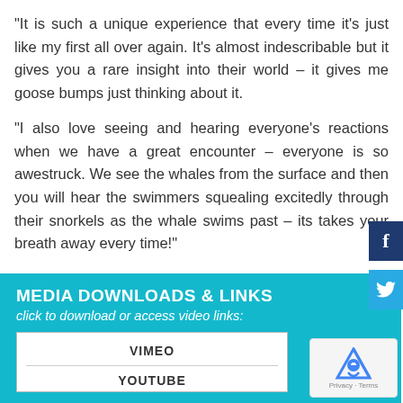“It is such a unique experience that every time it’s just like my first all over again. It’s almost indescribable but it gives you a rare insight into their world – it gives me goose bumps just thinking about it.
“I also love seeing and hearing everyone’s reactions when we have a great encounter – everyone is so awestruck. We see the whales from the surface and then you will hear the swimmers squealing excitedly through their snorkels as the whale swims past – its takes your breath away every time!
MEDIA DOWNLOADS & LINKS
click to download or access video links:
VIMEO
YOUTUBE